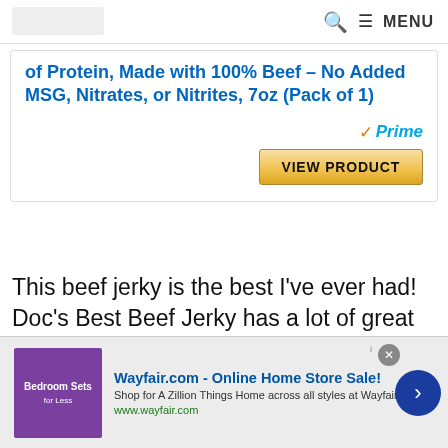🔍  ≡ MENU
of Protein, Made with 100% Beef – No Added MSG, Nitrates, or Nitrites, 7oz (Pack of 1)
Prime
VIEW PRODUCT
This beef jerky is the best I've ever had! Doc's Best Beef Jerky has a lot of great flavor and it's almost too addicting. I think Doc's Best makes the best beef jerky because it has a perfect combination of a little bit of
Wayfair.com - Online Home Store Sale!
Shop for A Zillion Things Home across all styles at Wayfair!
www.wayfair.com